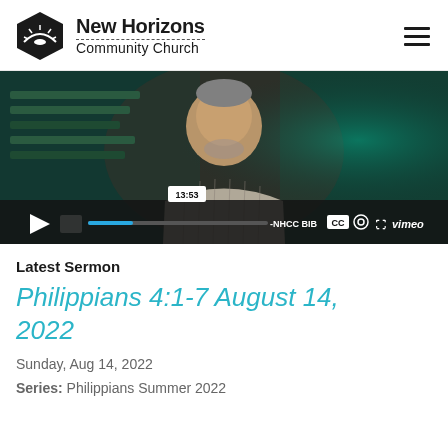New Horizons Community Church
[Figure (screenshot): Vimeo video player showing a man in a plaid shirt, video paused at 13:53, with play button, progress bar with blue fill, CC button, gear icon, fullscreen icon, and vimeo logo in the control bar. Channel label reads -NHCC BIBL.]
Latest Sermon
Philippians 4:1-7 August 14, 2022
Sunday, Aug 14, 2022
Series: Philippians Summer 2022